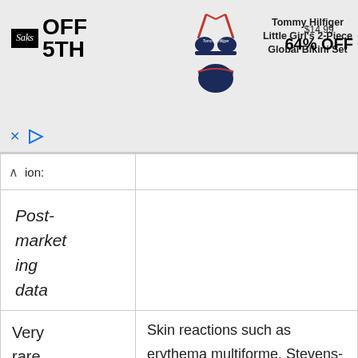[Figure (screenshot): Saks OFF 5TH advertisement banner for Tommy Hilfiger Little Girl's 2-Piece Global Bikini Set, $14.99, 64% OFF]
| Frequency | Description |
| --- | --- |
| ion: |  |
| Post-marketing data |  |
| Very rare | Skin reactions such as erythema multiforme, Stevens-Johnson syndrome, toxic epidermal necrolysis, bullous and exfoliative dermatitis, acute generalised exanthematous pustulosis (AGEP) and drug reaction with eosinophilia and systemic |